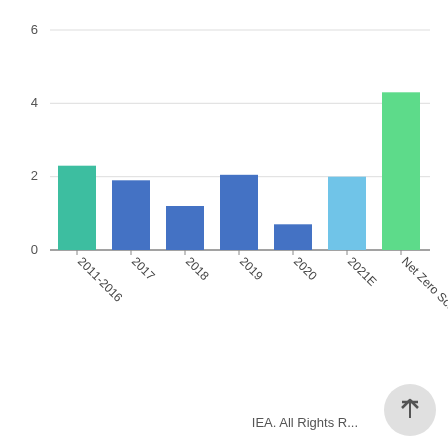[Figure (bar-chart): ]
IEA. All Rights R...